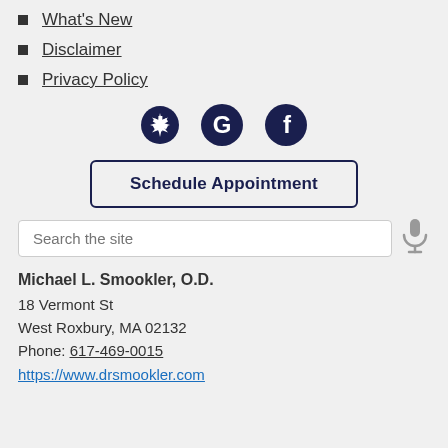What's New
Disclaimer
Privacy Policy
[Figure (infographic): Social media icons: Yelp, Google, Facebook in dark navy color]
Schedule Appointment
Search the site
Michael L. Smookler, O.D.
18 Vermont St
West Roxbury, MA 02132
Phone: 617-469-0015
https://www.drsmookler.com